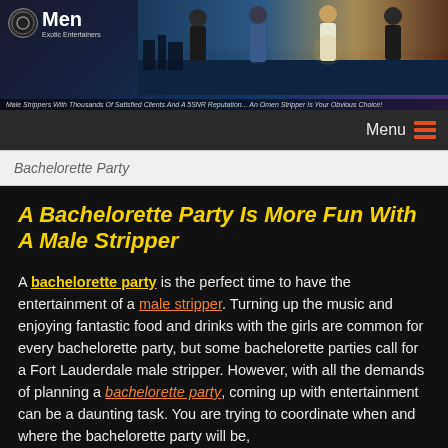[Figure (photo): Men Exotic Entertainers banner with male performers in various costumes (police officer, shirtless men) against a city nightscape background. Caption reads: Male Strippers With Thousands Of Satisfied Clients And A 5 Star Reputation... An Omen Stripper Is Your Obvious Choice!]
Menu ≡
Bachelorette Party
A Bachelorette Party Is More Fun With A Male Stripper
A bachelorette party is the perfect time to have the entertainment of a male stripper. Turning up the music and enjoying fantastic food and drinks with the girls are common for every bachelorette party, but some bachelorette parties call for a Fort Lauderdale male stripper. However, with all the demands of planning a bachelorette party, coming up with entertainment can be a daunting task. You are trying to coordinate when and where the bachelorette party will be,